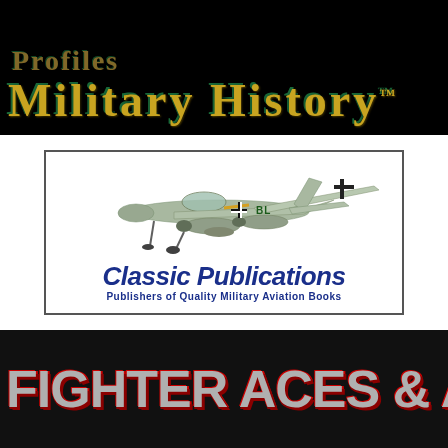[Figure (logo): Top black banner with 'Military History' text in gold/green stylized font, partially cropped at top]
[Figure (logo): Classic Publications logo: illustration of WWII German Me 262 jet fighter aircraft above bold blue text 'Classic Publications' with subtitle 'Publishers of Quality Military Aviation Books', framed in a rectangle]
[Figure (logo): Bottom black banner with large metallic red-outlined text 'FIGHTER ACES & AIRCRA...' (cropped on right side)]